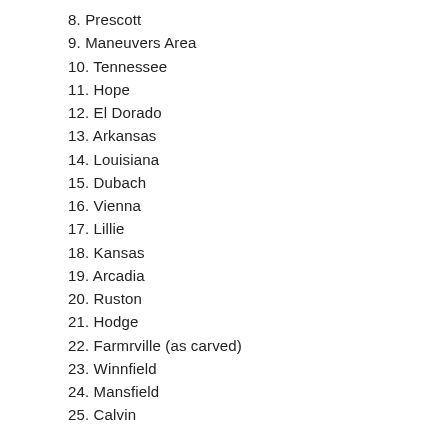8. Prescott
9. Maneuvers Area
10. Tennessee
11. Hope
12. El Dorado
13. Arkansas
14. Louisiana
15. Dubach
16. Vienna
17. Lillie
18. Kansas
19. Arcadia
20. Ruston
21. Hodge
22. Farmrville (as carved)
23. Winnfield
24. Mansfield
25. Calvin